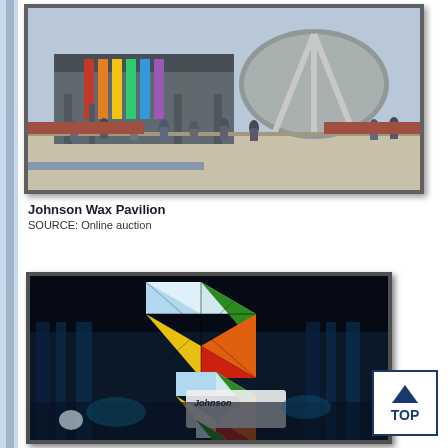[Figure (photo): Outdoor photograph of the Johnson Wax Pavilion showing a modernist two-story building with colorful vertical columns, a large dome structure, and crowds of visitors in the foreground]
Johnson Wax Pavilion
SOURCE: Online auction
[Figure (photo): Night or dark photograph showing a large colorful geometric cube-like sculpture or sign made of illuminated panels in green, orange, yellow, red, and white, with 'Johnson' text visible on a lower white panel, set against a dark background with blue lighting]